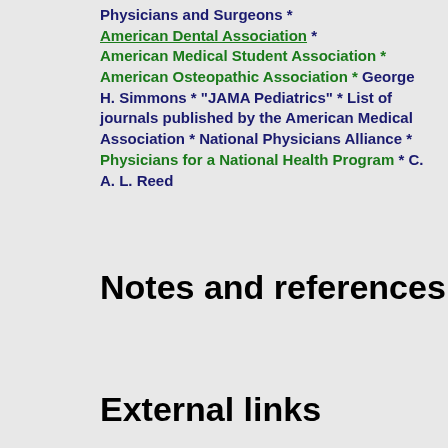Physicians and Surgeons * American Dental Association * American Medical Student Association * American Osteopathic Association * George H. Simmons * "JAMA Pediatrics" * List of journals published by the American Medical Association * National Physicians Alliance * Physicians for a National Health Program * C. A. L. Reed
Notes and references
External links